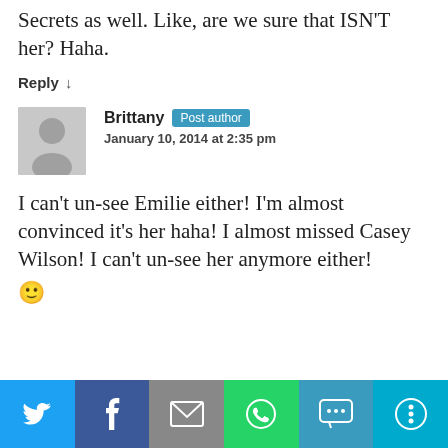Secrets as well. Like, are we sure that ISN'T her? Haha.
Reply ↓
Brittany  Post author
January 10, 2014 at 2:35 pm
I can't un-see Emilie either! I'm almost convinced it's her haha! I almost missed Casey Wilson! I can't un-see her anymore either! 🙂
[Figure (infographic): Social share bar with Twitter, Facebook, Email, WhatsApp, SMS, and More buttons]